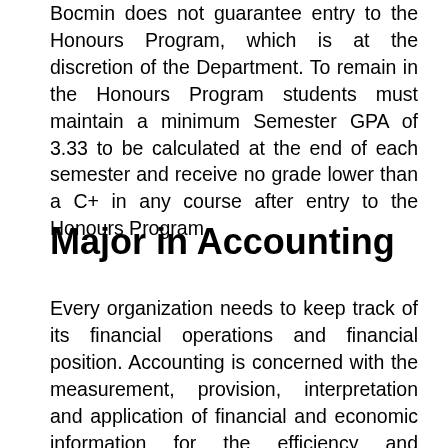Bocmin does not guarantee entry to the Honours Program, which is at the discretion of the Department. To remain in the Honours Program students must maintain a minimum Semester GPA of 3.33 to be calculated at the end of each semester and receive no grade lower than a C+ in any course after entry to the Honours Program.
Major in Accounting
Every organization needs to keep track of its financial operations and financial position. Accounting is concerned with the measurement, provision, interpretation and application of financial and economic information for the efficiency and evaluation of an organization's operations. The information provided by the